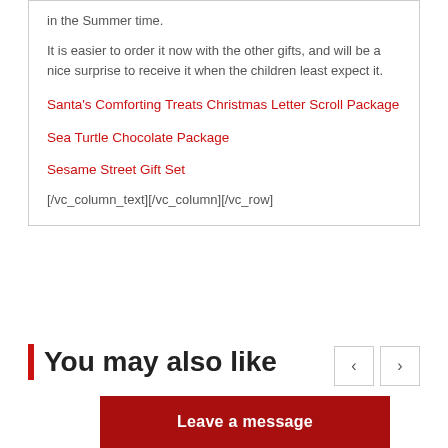in the Summer time.
It is easier to order it now with the other gifts, and will be a nice surprise to receive it when the children least expect it.
Santa's Comforting Treats Christmas Letter Scroll Package
Sea Turtle Chocolate Package
Sesame Street Gift Set
[/vc_column_text][/vc_column][/vc_row]
Additional information
You may also like
Leave a message